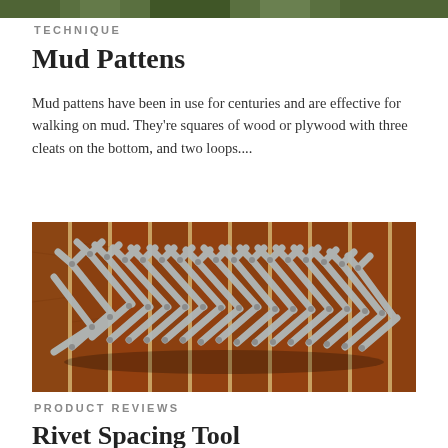[Figure (photo): Top edge of page showing a blurred outdoor/foliage background image strip]
TECHNIQUE
Mud Pattens
Mud pattens have been in use for centuries and are effective for walking on mud. They're squares of wood or plywood with three cleats on the bottom, and two loops....
[Figure (photo): A metal rivet spacing tool (expandable lattice/scissor-grid made of flat metal bars with holes, laid on a wooden surface with vertical wood planks)]
PRODUCT REVIEWS
Rivet Spacing Tool